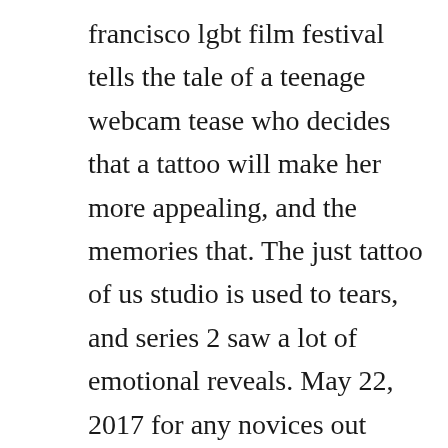francisco lgbt film festival tells the tale of a teenage webcam tease who decides that a tattoo will make her more appealing, and the memories that. The just tattoo of us studio is used to tears, and series 2 saw a lot of emotional reveals. May 22, 2017 for any novices out there, earlier this year mtv launched a brand new tv show called just tattoo of us, fronted by charlotte crosby and stephen bear. When charlotte finally sees the tattoo stephen bear designed for her, the geordie lass goes pure radge. News corp is a